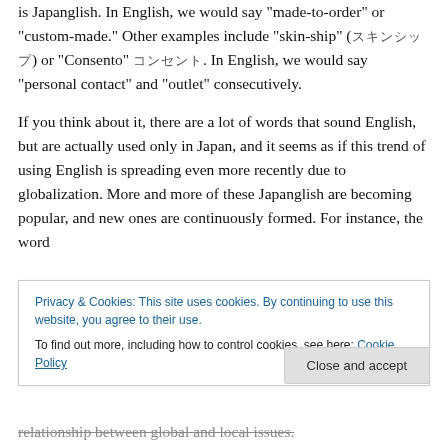is Japanglish. In English, we would say "made-to-order" or "custom-made." Other examples include "skin-ship" (スキンシップ) or "Consento" コンセント. In English, we would say "personal contact" and "outlet" consecutively.
If you think about it, there are a lot of words that sound English, but are actually used only in Japan, and it seems as if this trend of using English is spreading even more recently due to globalization. More and more of these Japanglish are becoming popular, and new ones are continuously formed. For instance, the word
Privacy & Cookies: This site uses cookies. By continuing to use this website, you agree to their use. To find out more, including how to control cookies, see here: Cookie Policy
relationship between global and local issues.